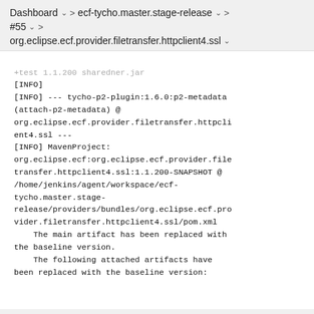Dashboard > ecf-tycho.master.stage-release > #55 > org.eclipse.ecf.provider.filetransfer.httpclient4.ssl
[INFO]
[INFO] --- tycho-p2-plugin:1.6.0:p2-metadata (attach-p2-metadata) @ org.eclipse.ecf.provider.filetransfer.httpclient4.ssl ---
[INFO] MavenProject: org.eclipse.ecf:org.eclipse.ecf.provider.filetransfer.httpclient4.ssl:1.1.200-SNAPSHOT @ /home/jenkins/agent/workspace/ecf-tycho.master.stage-release/providers/bundles/org.eclipse.ecf.provider.filetransfer.httpclient4.ssl/pom.xml
    The main artifact has been replaced with the baseline version.
    The following attached artifacts have been replaced with the baseline version: